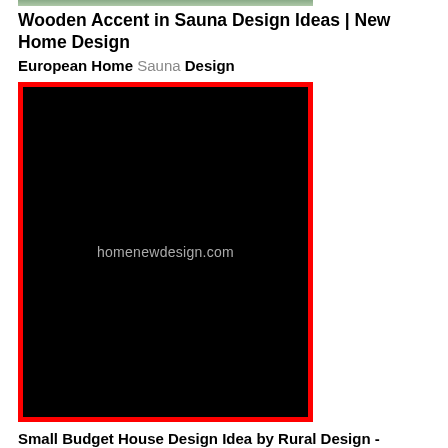Wooden Accent in Sauna Design Ideas | New Home Design
European Home Sauna Design
[Figure (photo): Black image placeholder with watermark text 'homenewdesign.com' centered on black background, surrounded by a red border]
Small Budget House Design Idea by Rural Design -